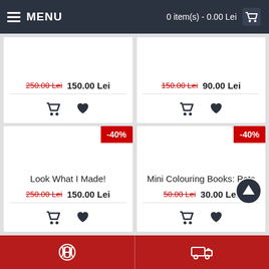MENU | 0 item(s) - 0.00 Lei
[Figure (screenshot): Partially visible top product cards with strikethrough old prices and new prices, and cart/heart action icons. Left card: 250.00 Lei -> 150.00 Lei. Right card: 150.00 Lei -> 90.00 Lei.]
[Figure (screenshot): Product card for 'Look What I Made!' with -40% badge, price 250.00 Lei strikethrough, 150.00 Lei, cart and heart icons.]
[Figure (screenshot): Product card for 'Mini Colouring Books: Pets' with -40% badge, price 50.00 Lei strikethrough, 30.00 Lei, cart and heart icons. Scroll-up circle button visible.]
Phone | Delivery